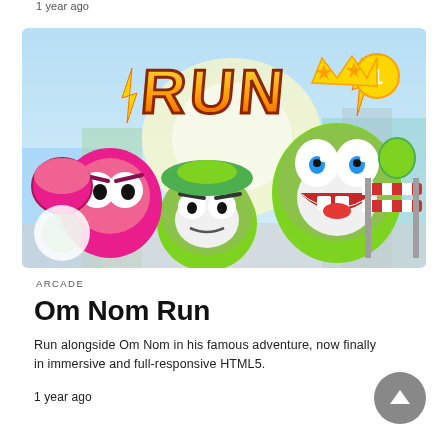1 year ago
[Figure (illustration): Game artwork for 'Om Nom Run' showing cartoon monster characters: a green Om Nom character with a crown, a smaller green Om Nom, a pink boxing glove character, and a red-and-white striped barrier. The logo 'RUN' in orange-yellow graffiti style letters appears at the top. Colorful city background.]
ARCADE
Om Nom Run
Run alongside Om Nom in his famous adventure, now finally in immersive and full-responsive HTML5.
1 year ago